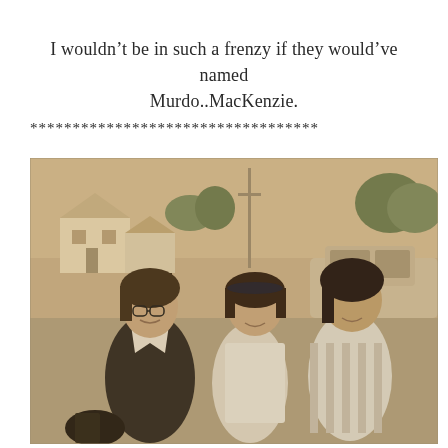I wouldn't be in such a frenzy if they would've named Murdo..MacKenzie.
**********************************
[Figure (photo): A vintage sepia-toned black and white photograph showing three young women or girls standing together outdoors near a car. The one on the left wears glasses and a dark jacket with a white collar. The middle figure wears a light-colored outfit and a headband. The figure on the right wears a striped sleeveless top. A white house and trees are visible in the background.]